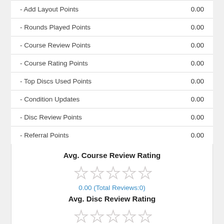|  |  |
| --- | --- |
| - Add Layout Points | 0.00 |
| - Rounds Played Points | 0.00 |
| - Course Review Points | 0.00 |
| - Course Rating Points | 0.00 |
| - Top Discs Used Points | 0.00 |
| - Condition Updates | 0.00 |
| - Disc Review Points | 0.00 |
| - Referral Points | 0.00 |
Avg. Course Review Rating
[Figure (other): Five empty/outline stars representing average course review rating]
0.00 (Total Reviews:0)
Avg. Disc Review Rating
[Figure (other): Five empty/outline stars representing average disc review rating]
0.00 (Total Reviews:0)